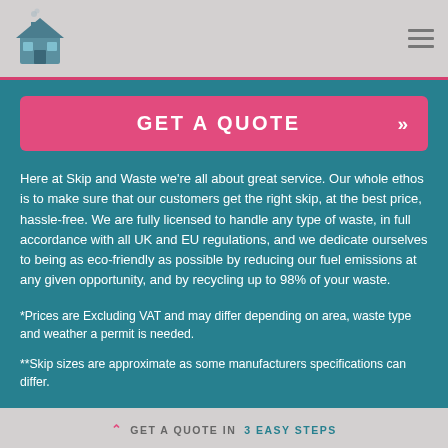[Figure (logo): House/home icon in teal/blue color with chimney smoke, used as website logo]
GET A QUOTE »
Here at Skip and Waste we're all about great service. Our whole ethos is to make sure that our customers get the right skip, at the best price, hassle-free. We are fully licensed to handle any type of waste, in full accordance with all UK and EU regulations, and we dedicate ourselves to being as eco-friendly as possible by reducing our fuel emissions at any given opportunity, and by recycling up to 98% of your waste.
*Prices are Excluding VAT and may differ depending on area, waste type and weather a permit is needed.
**Skip sizes are approximate as some manufacturers specifications can differ.
GET A QUOTE IN  3 EASY STEPS